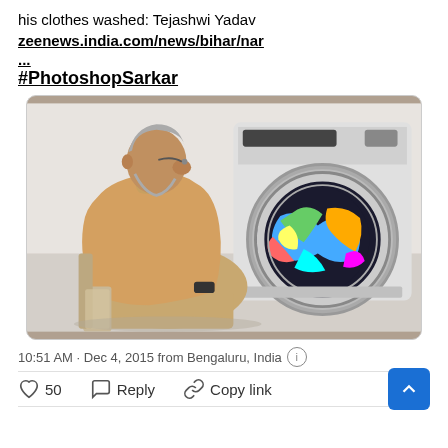his clothes washed: Tejashwi Yadav
zeenews.india.com/news/bihar/nar
...
#PhotoshopSarkar
[Figure (photo): A photoshopped image showing an elderly man in a beige kurta sitting and looking at a front-loading washing machine filled with colorful clothes.]
10:51 AM · Dec 4, 2015 from Bengaluru, India ℹ
♡ 50   Reply   Copy link